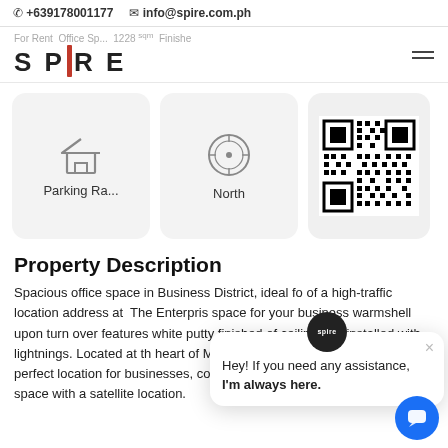+639178001177  info@spire.com.ph
[Figure (logo): SPIRE real estate logo with red vertical bar between P and R]
[Figure (infographic): Three cards: Parking Ra..., North (compass icon), and a QR code]
Property Description
Spacious office space in Business District, ideal for of a high-traffic location address at The Enterprise space for your business warmshell upon turn over features white putty finished of ceiling and installed with lightnings. Located at the heart of Makati Central Business District, a perfect location for businesses, corporates and start-ups that need an office space with a satellite location.
[Figure (screenshot): Chat popup: Hey! If you need any assistance, I'm always here. With SPIRE logo avatar and blue chat button.]